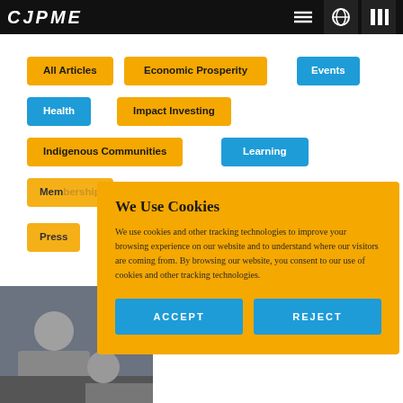CJPME [logo/nav bar]
All Articles
Economic Prosperity
Events
Health
Impact Investing
Indigenous Communities
Learning
Membership
Partner Challenges
Partnerships
Press
Sustainability
We Use Cookies
We use cookies and other tracking technologies to improve your browsing experience on our website and to understand where our visitors are coming from. By browsing our website, you consent to our use of cookies and other tracking technologies.
ACCEPT
REJECT